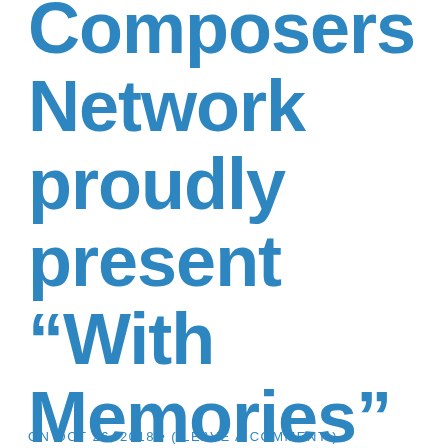Composers Network proudly present “With Memories”
ON OCT 26, 2018 • ( LEAVE A COMMENT )